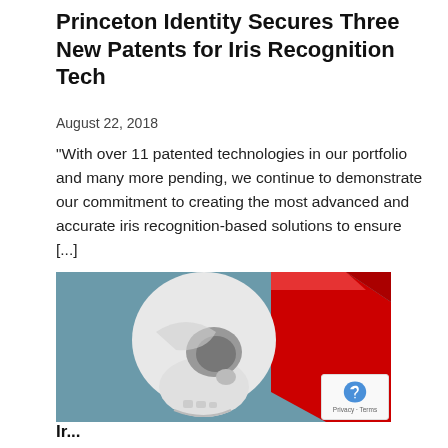Princeton Identity Secures Three New Patents for Iris Recognition Tech
August 22, 2018
"With over 11 patented technologies in our portfolio and many more pending, we continue to demonstrate our commitment to creating the most advanced and accurate iris recognition-based solutions to ensure [...]
[Figure (illustration): Stylized graphic of a white/gray skull profile facing right, against a teal/blue-gray background, with a bold red geometric 3D shape on the right side.]
Ir...